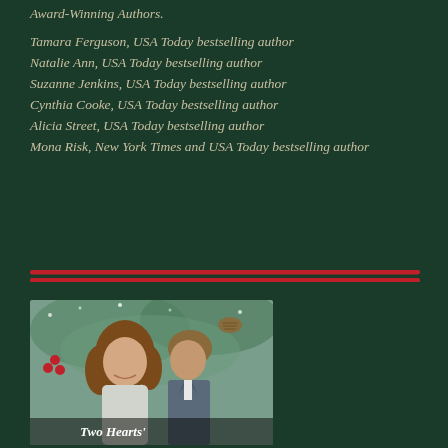Award-Winning Authors.
Tamara Ferguson, USA Today bestselling author
Natalie Ann, USA Today bestselling author
Suzanne Jenkins, USA Today bestselling author
Cynthia Cooke, USA Today bestselling author
Alicia Street, USA Today bestselling author
Mona Risk, New York Times and USA Today bestselling author
[Figure (illustration): Book cover showing a romantic couple — a woman with curly hair and a man in a suit — in a winter/Christmas setting with pine cones and red berries. Title text at bottom reads 'Two Hearts']
Two Hearts'